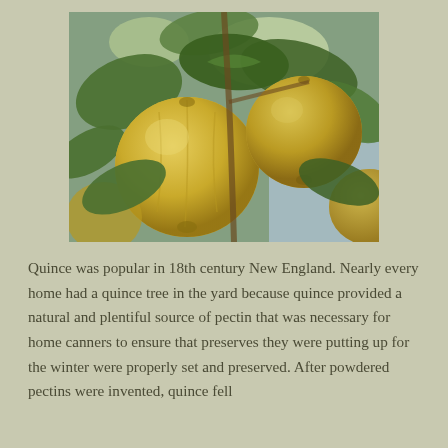[Figure (photo): Close-up photograph of yellow quince fruits hanging on a tree branch with green leaves, taken from below against a bright sky background.]
Quince was popular in 18th century New England. Nearly every home had a quince tree in the yard because quince provided a natural and plentiful source of pectin that was necessary for home canners to ensure that preserves they were putting up for the winter were properly set and preserved. After powdered pectins were invented, quince fell